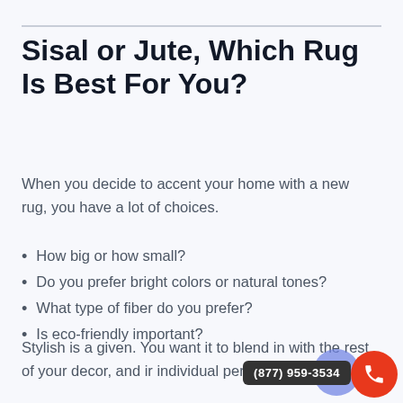Sisal or Jute, Which Rug Is Best For You?
When you decide to accent your home with a new rug, you have a lot of choices.
How big or how small?
Do you prefer bright colors or natural tones?
What type of fiber do you prefer?
Is eco-friendly important?
Stylish is a given. You want it to blend in with the rest of your decor, and ir individual personality.